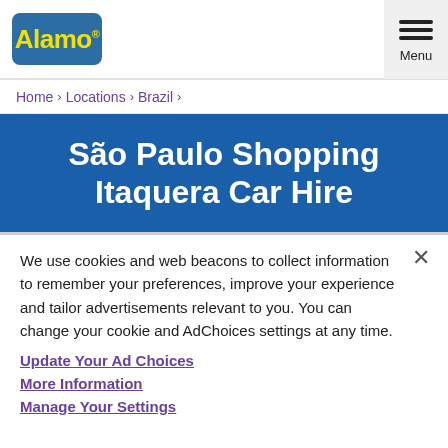Alamo | Menu
Home › Locations › Brazil ›
São Paulo Shopping Itaquera Car Hire
We use cookies and web beacons to collect information to remember your preferences, improve your experience and tailor advertisements relevant to you. You can change your cookie and AdChoices settings at any time.
Update Your Ad Choices
More Information
Manage Your Settings